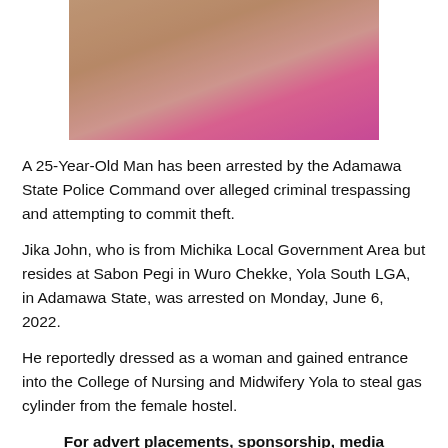[Figure (photo): A person dressed in pink/magenta outfit with a pink cardigan, photographed outdoors.]
A 25-Year-Old Man has been arrested by the Adamawa State Police Command over alleged criminal trespassing and attempting to commit theft.
Jika John, who is from Michika Local Government Area but resides at Sabon Pegi in Wuro Chekke, Yola South LGA, in Adamawa State, was arrested on Monday, June 6, 2022.
He reportedly dressed as a woman and gained entrance into the College of Nursing and Midwifery Yola to steal gas cylinder from the female hostel.
For advert placements, sponsorship, media (Music/Video) promotions, or to share breaking News